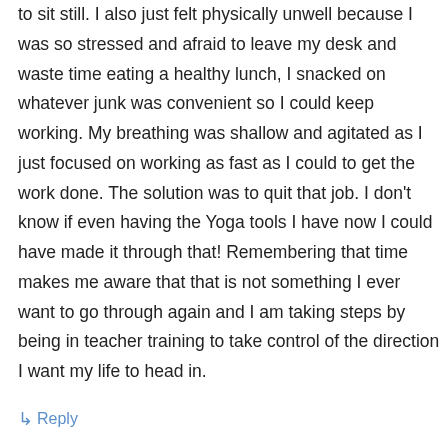to sit still. I also just felt physically unwell because I was so stressed and afraid to leave my desk and waste time eating a healthy lunch, I snacked on whatever junk was convenient so I could keep working. My breathing was shallow and agitated as I just focused on working as fast as I could to get the work done. The solution was to quit that job. I don't know if even having the Yoga tools I have now I could have made it through that! Remembering that time makes me aware that that is not something I ever want to go through again and I am taking steps by being in teacher training to take control of the direction I want my life to head in.
↳ Reply